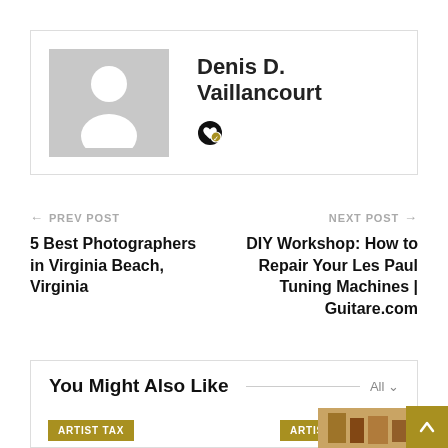[Figure (photo): Author avatar placeholder with grey silhouette icon]
Denis D. Vaillancourt
❤ (heart/social icon)
← PREV POST
5 Best Photographers in Virginia Beach, Virginia
NEXT POST →
DIY Workshop: How to Repair Your Les Paul Tuning Machines | Guitare.com
You Might Also Like
All ∨
ARTIST TAX
ARTIST TAX